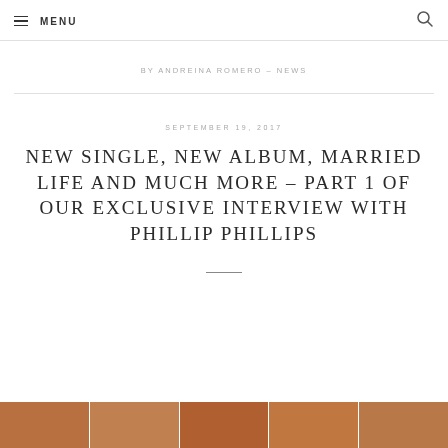MENU
BY ANDREINA ROMERO – NEWS
SEPTEMBER 19, 2017
NEW SINGLE, NEW ALBUM, MARRIED LIFE AND MUCH MORE – PART 1 OF OUR EXCLUSIVE INTERVIEW WITH PHILLIP PHILLIPS
[Figure (photo): Cropped photo strip showing people, partially visible at the bottom of the page]